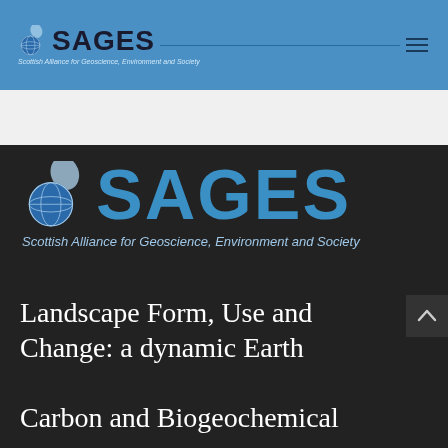[Figure (logo): SAGES logo with globe icon in blue navigation bar at top. Text reads 'SAGES' in bold dark letters and 'Scottish Alliance for Geoscience, Environment and Society' in small italic text. Hamburger menu icon on right.]
[Figure (logo): Large SAGES logo on dark background. Globe icon with light blue teardrop shape above it, followed by 'SAGES' in large bold blue letters. Subtitle: 'Scottish Alliance for Geoscience, Environment and Society' in light blue italic text.]
Landscape Form, Use and Change: a dynamic Earth
Carbon and Biogeochemical